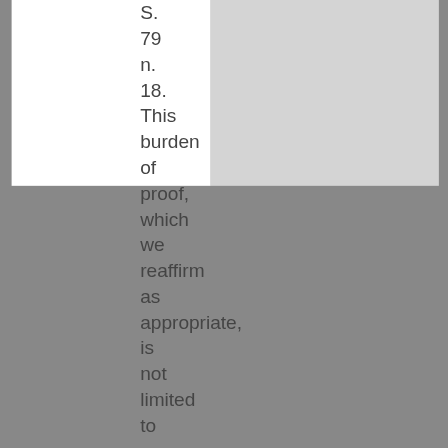S. 79 n. 18. This burden of proof, which we reaffirm as appropriate, is not limited to a negation of taint;